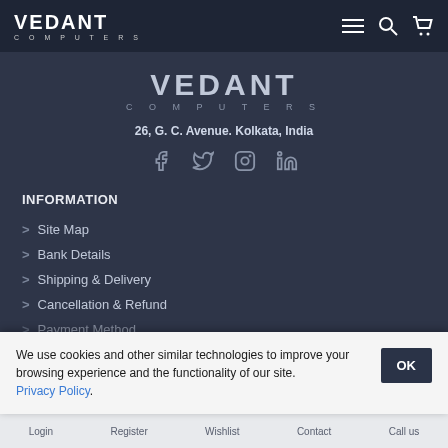VEDANT COMPUTERS
[Figure (logo): Vedant Computers large centered logo with text VEDANT COMPUTERS]
26, G. C. Avenue. Kolkata, India
[Figure (infographic): Social media icons row: Facebook, Twitter, Instagram, LinkedIn]
INFORMATION
Site Map
Bank Details
Shipping & Delivery
Cancellation & Refund
Payment Method
We use cookies and other similar technologies to improve your browsing experience and the functionality of our site. Privacy Policy.
Login   Register   Wishlist   Contact   Call us